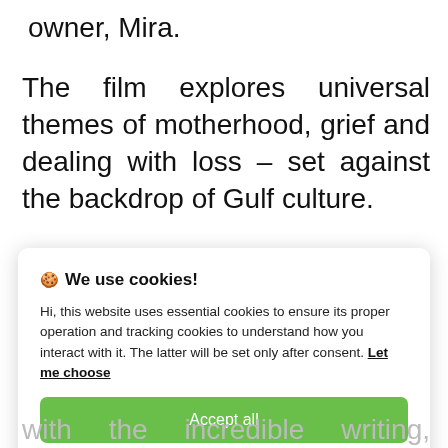owner, Mira.
The film explores universal themes of motherhood, grief and dealing with loss – set against the backdrop of Gulf culture.
🍪 We use cookies!

Hi, this website uses essential cookies to ensure its proper operation and tracking cookies to understand how you interact with it. The latter will be set only after consent. Let me choose

[Accept all]
[Reject all]
with the incredible writing, passionate